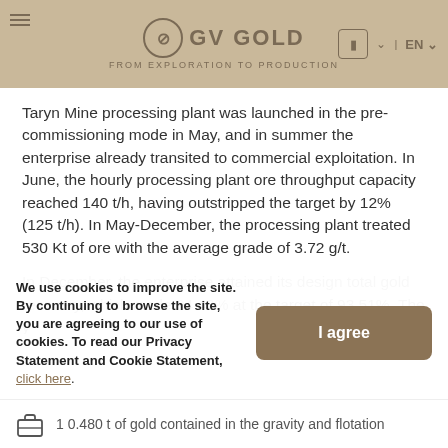GV GOLD — FROM EXPLORATION TO PRODUCTION
Taryn Mine processing plant was launched in the pre-commissioning mode in May, and in summer the enterprise already transited to commercial exploitation. In June, the hourly processing plant ore throughput capacity reached 140 t/h, having outstripped the target by 12% (125 t/h). In May-December, the processing plant treated 530 Kt of ore with the average grade of 3.72 g/t.
In December, the enterprise attained its design total gold recovery, which made 94.42% at the target of 93.51%. The y
We use cookies to improve the site. By continuing to browse the site, you are agreeing to our use of cookies. To read our Privacy Statement and Cookie Statement, click here.
I agree
1 0.480 t of gold contained in the gravity and flotation